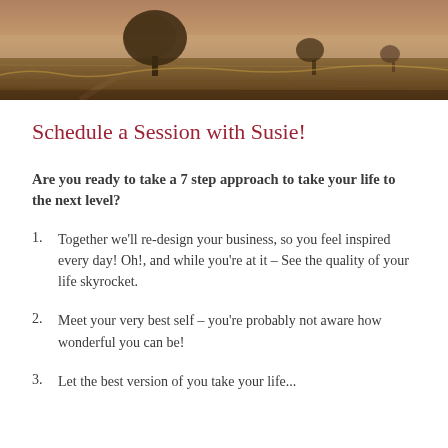[Figure (photo): Landscape photo header showing an autumnal field with golden grasses, a lone tree silhouetted against a misty sky, with warm orange and brown tones.]
Schedule a Session with Susie!
Are you ready to take a 7 step approach to take your life to the next level?
Together we'll re-design your business, so you feel inspired every day! Oh!, and while you're at it – See the quality of your life skyrocket.
Meet your very best self – you're probably not aware how wonderful you can be!
Let the best version of you take your life...